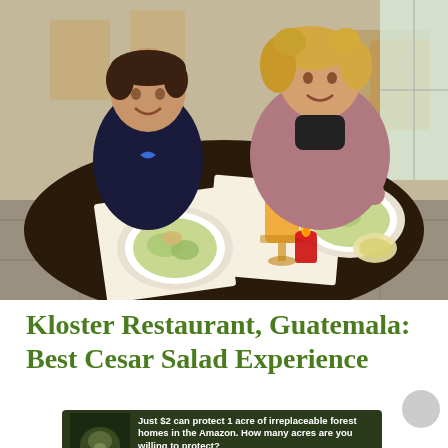[Figure (photo): A boy and a woman sitting at a restaurant table smiling, with plates of salad, a glass of orange juice, and a candle on the table. Restaurant setting with wooden chairs and stone floor in the background.]
Kloster Restaurant, Guatemala: Best Cesar Salad Experience
[Figure (photo): Advertisement banner with dark forest background showing a sloth. Text reads: 'Just $2 can protect 1 acre of irreplaceable forest homes in the Amazon. How many acres are you willing to protect?' with a green 'PROTECT FORESTS NOW' button.]